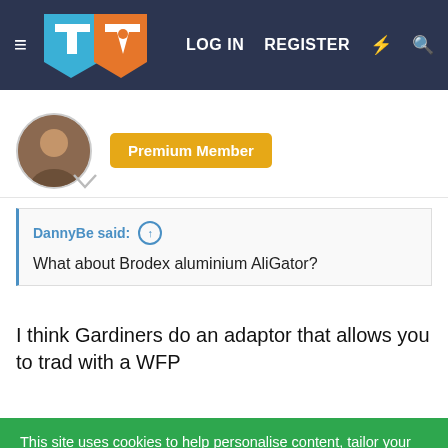LOG IN  REGISTER
[Figure (screenshot): Premium Member badge and user avatar]
DannyBe said: ↑
What about Brodex aluminium AliGator?
I think Gardiners do an adaptor that allows you to trad with a WFP
This site uses cookies to help personalise content, tailor your experience and to keep you logged in if you register.
By continuing to use this site, you are consenting to our use of cookies.
✓ Accept   Learn more...
Don't enjoy ads on the forum? Remove them ALL with a premium membership!